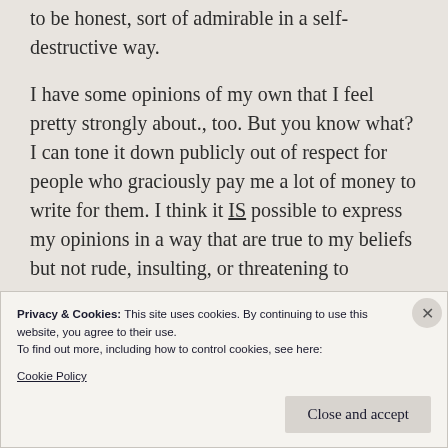to be honest, sort of admirable in a self-destructive way.

I have some opinions of my own that I feel pretty strongly about., too. But you know what? I can tone it down publicly out of respect for people who graciously pay me a lot of money to write for them. I think it IS possible to express my opinions in a way that are true to my beliefs but not rude, insulting, or threatening to
Privacy & Cookies: This site uses cookies. By continuing to use this website, you agree to their use.
To find out more, including how to control cookies, see here:
Cookie Policy

Close and accept